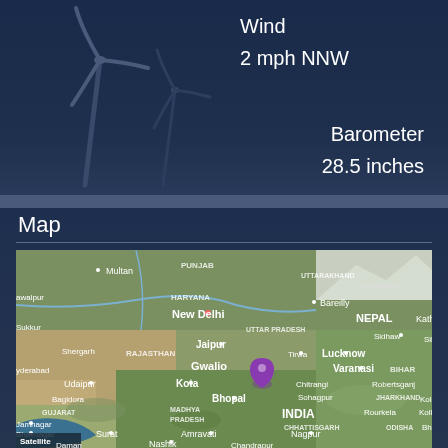[Figure (screenshot): Weather app showing wind turbine icon with Wind 2 mph NNW reading and Barometer 28.5 inches on dark blue background]
Wind
2 mph NNW
Barometer
28.5 inches
Map
[Figure (map): Satellite map showing northern India region including New Delhi, Gwalior (with purple location pin), Jaipur, Lucknow, Bhopal, and surrounding cities. Himalayas visible in top right. States labeled include Punjab, Haryana, Uttarakhand, Rajasthan, Uttar Pradesh, Nepal, Gujarat, Madhya Pradesh, Chhattisgarh, Bihar, Jharkhand, Odisha. Cities visible: Multan, Bareilly, Sidhaw, Kota, Udaipur, Varanasi, Chitrangi, Sohagpur, Robertsganj, Bagidora, Jamnagar, Bhavnagar, Surat, Daman, Amravati, Nashik, Nagpur, Chandrapur, Rourkela, Bhu, Kolkata area, Kathmandu area.]